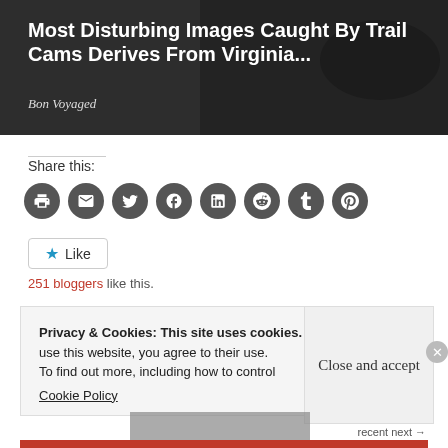[Figure (photo): Dark background banner image showing trail cam related imagery]
Most Disturbing Images Caught By Trail Cams Derives From Virginia...
Bon Voyaged
Share this:
[Figure (infographic): Row of social share icon buttons: print, email, Twitter, Facebook, LinkedIn, Reddit, Tumblr, Pinterest]
[Figure (other): Like button with star icon]
251 bloggers like this.
Privacy & Cookies: This site uses cookies. By continuing to use this website, you agree to their use. To find out more, including how to control cookies, see here: Cookie Policy
Close and accept